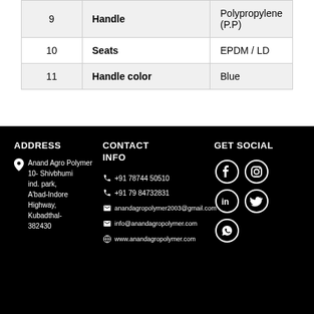| # | Part | Material |
| --- | --- | --- |
| 9 | Handle | Polypropylene (P.P) |
| 10 | Seats | EPDM / LD |
| 11 | Handle color | Blue |
ADDRESS
CONTACT INFO
GET SOCIAL
Anand Agro Polymer 10- Shivbhumi ind. park, A'bad-Indore Highway, Kubadthal- 382430
+91 78744 50510
+91 79 84732831
anandagropolymer2003@gmail.com
info@anandagropolymer.com
www.anandagropolymer.com